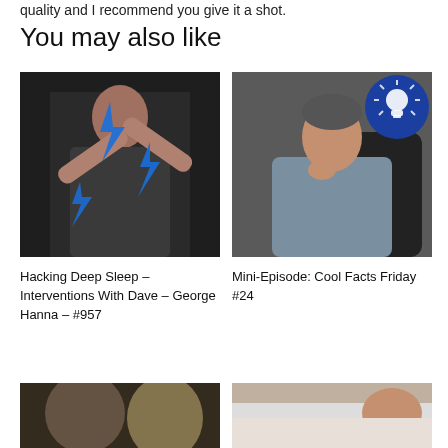quality and I recommend you give it a shot.
You may also like
[Figure (photo): Man making an X gesture with his arms, blue lightning bolt graphics overlaid, dark background]
Hacking Deep Sleep – Interventions With Dave – George Hanna – #957
[Figure (photo): Man sitting in chair smiling, blue circle with lightbulb icon in upper right corner]
Mini-Episode: Cool Facts Friday #24
[Figure (photo): Two people side by side, partial view, dark background]
[Figure (photo): Person lying down, partial view, light background]